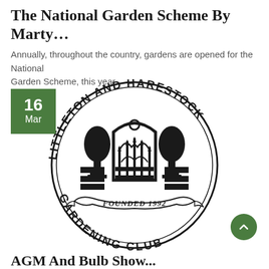The National Garden Scheme By Marty…
Annually, throughout the country, gardens are opened for the National Garden Scheme, this year
[Figure (logo): Littleton and Harestock Gardening Club circular logo with gates and topiary, Founded 1992, with a green date badge showing 16 Mar overlaid on the top-left]
AGM And Bulb Show...